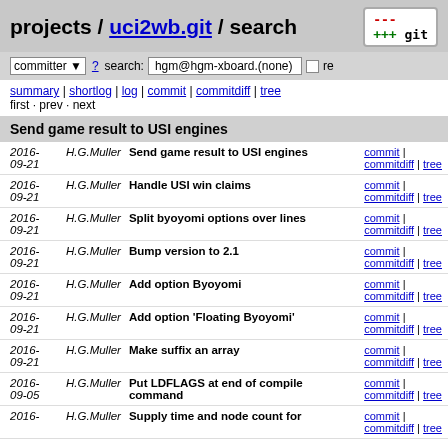projects / uci2wb.git / search
committer ? search: hgm@hgm-xboard.(none) re
summary | shortlog | log | commit | commitdiff | tree
first · prev · next
Send game result to USI engines
| Date | Author | Message | Links |
| --- | --- | --- | --- |
| 2016-09-21 | H.G.Muller | Send game result to USI engines | commit | commitdiff | tree |
| 2016-09-21 | H.G.Muller | Handle USI win claims | commit | commitdiff | tree |
| 2016-09-21 | H.G.Muller | Split byoyomi options over lines | commit | commitdiff | tree |
| 2016-09-21 | H.G.Muller | Bump version to 2.1 | commit | commitdiff | tree |
| 2016-09-21 | H.G.Muller | Add option Byoyomi | commit | commitdiff | tree |
| 2016-09-21 | H.G.Muller | Add option 'Floating Byoyomi' | commit | commitdiff | tree |
| 2016-09-21 | H.G.Muller | Make suffix an array | commit | commitdiff | tree |
| 2016-09-05 | H.G.Muller | Put LDFLAGS at end of compile command | commit | commitdiff | tree |
| 2016- | H.G.Muller | Supply time and node count for | commit | commitdiff | tree |